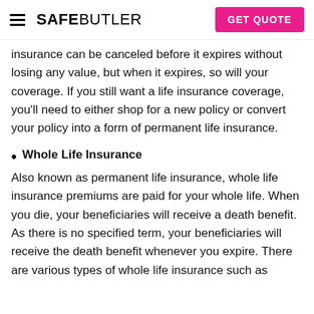SAFEBUTLER | GET QUOTE
insurance can be canceled before it expires without losing any value, but when it expires, so will your coverage. If you still want a life insurance coverage, you'll need to either shop for a new policy or convert your policy into a form of permanent life insurance.
Whole Life Insurance
Also known as permanent life insurance, whole life insurance premiums are paid for your whole life. When you die, your beneficiaries will receive a death benefit. As there is no specified term, your beneficiaries will receive the death benefit whenever you expire. There are various types of whole life insurance such as...